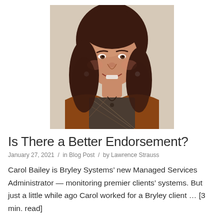[Figure (photo): Portrait photo of a smiling woman with dark shoulder-length hair, wearing a patterned blouse and brown jacket, against a light background.]
Is There a Better Endorsement?
January 27, 2021 / in Blog Post / by Lawrence Strauss
Carol Bailey is Bryley Systems’ new Managed Services Administrator — monitoring premier clients’ systems. But just a little while ago Carol worked for a Bryley client … [3 min. read]